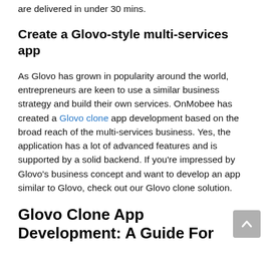are delivered in under 30 mins.
Create a Glovo-style multi-services app
As Glovo has grown in popularity around the world, entrepreneurs are keen to use a similar business strategy and build their own services. OnMobee has created a Glovo clone app development based on the broad reach of the multi-services business. Yes, the application has a lot of advanced features and is supported by a solid backend. If you're impressed by Glovo's business concept and want to develop an app similar to Glovo, check out our Glovo clone solution.
Glovo Clone App Development: A Guide For